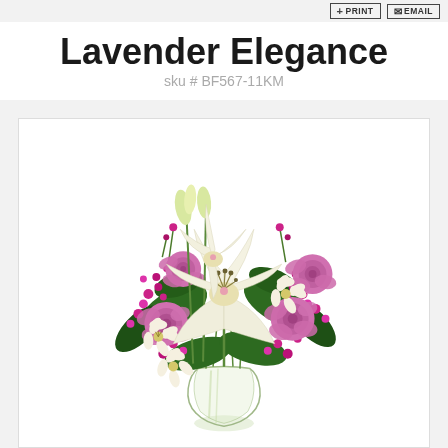PRINT | EMAIL
Lavender Elegance
sku # BF567-11KM
[Figure (photo): A floral bouquet arrangement called Lavender Elegance featuring cream/white Asiatic lilies as the focal flowers, pink/lavender roses, white alstroemeria, and bright magenta filler flowers (wax flowers/statice), all set against green foliage and arranged in a clear glass vase with a round bottom.]